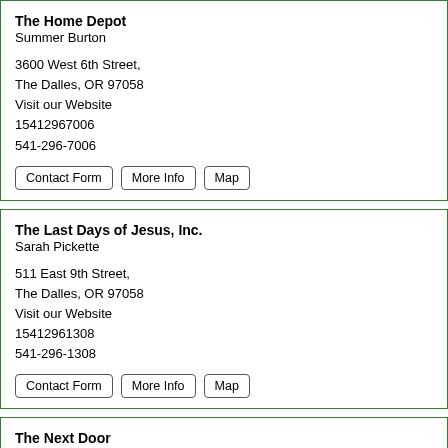The Home Depot
Summer Burton

3600 West 6th Street,
The Dalles, OR 97058
Visit our Website
15412967006
541-296-7006
Contact Form  More Info  Map
The Last Days of Jesus, Inc.
Sarah Pickette

511 East 9th Street,
The Dalles, OR 97058
Visit our Website
15412961308
541-296-1308
Contact Form  More Info  Map
The Next Door
Janet Hamada, MSW

1113 Kelly Avenue,
The Dalles, OR 97058
Visit our Website
15412968118
541-296-8885